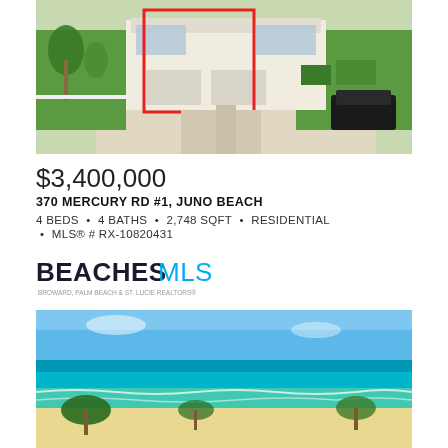[Figure (photo): Aerial view of residential property at 370 Mercury Rd #1, Juno Beach. A white modern two-story house is highlighted with a red rectangle outline. Palm trees and green landscaping visible. Adjacent unit also visible.]
$3,400,000
370 MERCURY RD #1, JUNO BEACH
4 BEDS • 4 BATHS • 2,748 SQFT • RESIDENTIAL • MLS® # RX-10820431
[Figure (logo): Beaches MLS logo with tagline]
[Figure (photo): Aerial or elevated view of a beautiful turquoise and blue ocean/beach scene with waves, sandy beach, and palm trees near the shore.]